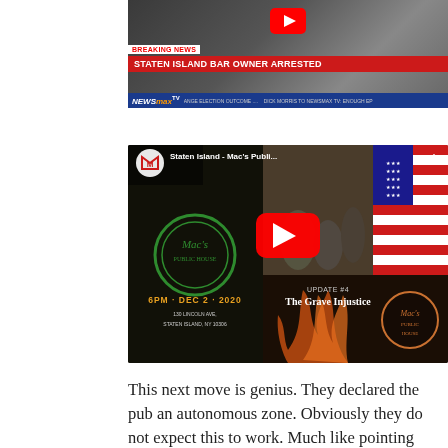[Figure (screenshot): YouTube video thumbnail showing a Newsmax TV breaking news segment with the headline 'STATEN ISLAND BAR OWNER ARRESTED' and the Newsmax TV logo at the bottom with ticker text]
[Figure (screenshot): YouTube video thumbnail for 'Staten Island - Mac's Publi...' showing Mac's Public House logo, event details (6PM · DEC 2 · 2020, 130 Lincoln Ave, Staten Island, NY 10306), a crowd scene, an American flag, UPDATE #4 The Grave Injustice text, and a YouTube play button]
This next move is genius. They declared the pub an autonomous zone. Obviously they do not expect this to work. Much like pointing out